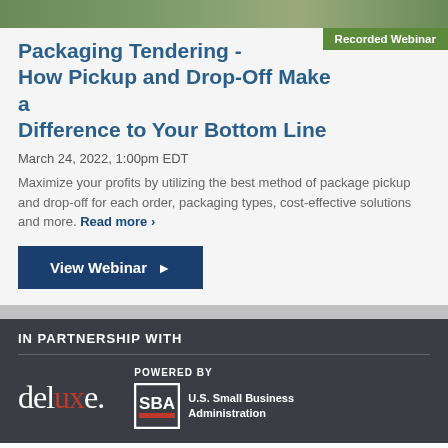[Figure (photo): Top banner image showing partial photo background in green/brown tones]
Recorded Webinar
Packaging Tendering - How Pickup and Drop-Off Make a Difference to Your Bottom Line
March 24, 2022, 1:00pm EDT
Maximize your profits by utilizing the best method of package pickup and drop-off for each order, packaging types, cost-effective solutions and more. Read more >
View Webinar ▶
IN PARTNERSHIP WITH
[Figure (logo): deluxe. company logo in white with red X]
POWERED BY
[Figure (logo): SBA U.S. Small Business Administration logo in white]